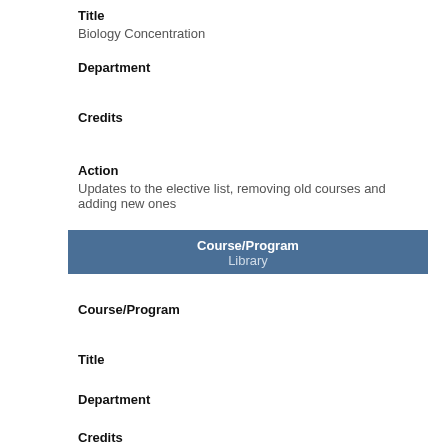Title
Biology Concentration
Department
Credits
Action
Updates to the elective list, removing old courses and adding new ones
| Course/Program | Library |
| --- | --- |
Course/Program
Title
Department
Credits